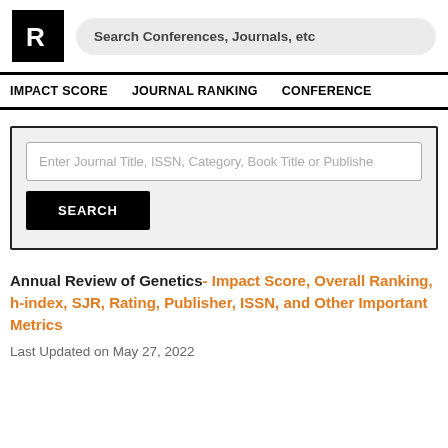[Figure (logo): Research ranking site logo: black square with white letter R]
Search Conferences, Journals, etc
IMPACT SCORE   JOURNAL RANKING   CONFERENCE
Enter Journal Title, ISSN, Category, Book Title or Publisher
SEARCH
Annual Review of Genetics- Impact Score, Overall Ranking, h-index, SJR, Rating, Publisher, ISSN, and Other Important Metrics
Last Updated on May 27, 2022